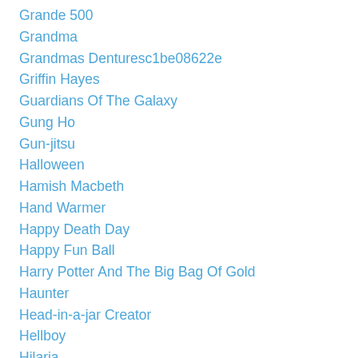Grande 500
Grandma
Grandmas Denturesc1be08622e
Griffin Hayes
Guardians Of The Galaxy
Gung Ho
Gun-jitsu
Halloween
Hamish Macbeth
Hand Warmer
Happy Death Day
Happy Fun Ball
Harry Potter And The Big Bag Of Gold
Haunter
Head-in-a-jar Creator
Hellboy
Hilaria
HiNovel
Historical Dictionary Of American Slang
Hollywood Reporter
Honduras